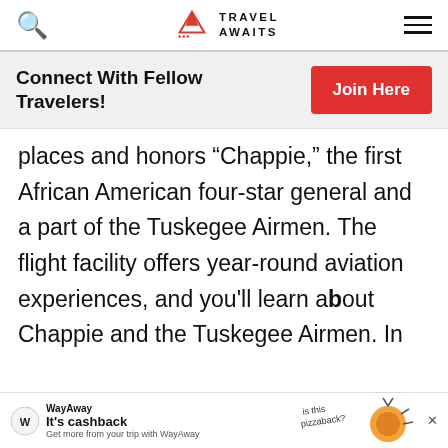Travel Awaits
Connect With Fellow Travelers!
places and honors “Chappie,” the first African American four-star general and a part of the Tuskegee Airmen. The flight facility offers year-round aviation experiences, and you'll learn about Chappie and the Tuskegee Airmen. In town, there’s also a
WayAway It’s cashback Get more from your trip with WayAway